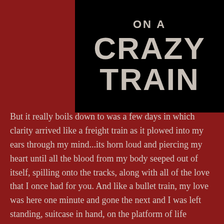ON A CRAZY TRAIN
But it really boils down to was a few days in which clarity arrived like a freight train as it plowed into my ears through my mind...its horn loud and piercing my heart until all the blood from my body seeped out of itself, spilling onto the tracks, along with all of the love that I once had for you. And like a bullet train, my love was here one minute and gone the next and I was left standing, suitcase in hand, on the platform of life deciding which direction I wanted to take. And now I am